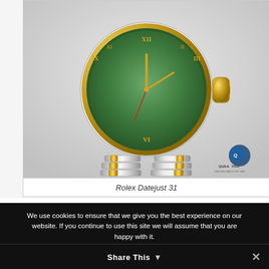[Figure (photo): Close-up photo of a Rolex Datejust 31 watch with green dial, gold Roman numerals, fluted gold bezel, and two-tone jubilee bracelet (silver and gold). The Quill & Pad logo is visible in the lower right corner of the image.]
Rolex Datejust 31
We use cookies to ensure that we give you the best experience on our website. If you continue to use this site we will assume that you are happy with it.
Share This